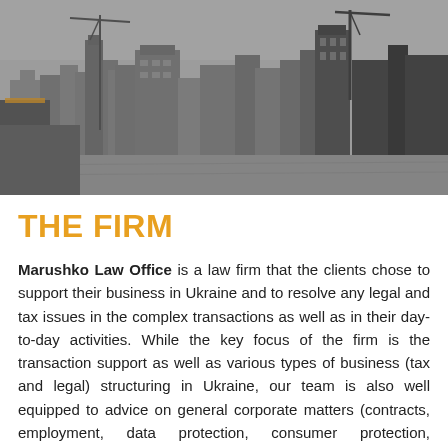[Figure (photo): Black and white aerial/elevated photograph of a city skyline, showing buildings, cranes, and urban infrastructure, likely Kyiv, Ukraine.]
THE FIRM
Marushko Law Office is a law firm that the clients chose to support their business in Ukraine and to resolve any legal and tax issues in the complex transactions as well as in their day-to-day activities. While the key focus of the firm is the transaction support as well as various types of business (tax and legal) structuring in Ukraine, our team is also well equipped to advice on general corporate matters (contracts, employment, data protection, consumer protection, environment protection, etc), arbitration &